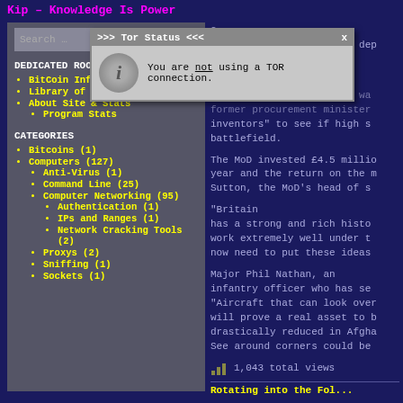Kip – Knowledge Is Power
[Figure (screenshot): Website sidebar with navigation menu showing Dedicated Rooms and Categories sections with links in yellow monospace font on dark gray background]
[Figure (other): Tor Status popup dialog indicating: You are not using a TOR connection.]
Camera technology is also being de... the diffe... and Cameraman. The Grand Challenge idea wa... former procurement minister inventors to see if high s... battlefield. The MoD invested £4.5 millio... year and the return on the m... Sutton, the MoD's head of s... "Britain has a strong and rich histo... work extremely well under t... now need to put these ideas... Major Phil Nathan, an infantry officer who has Se... "Aircraft that can look over... will prove a real asset to b... drastically reduced in Afgha... See around corners could be...
1,043 total views